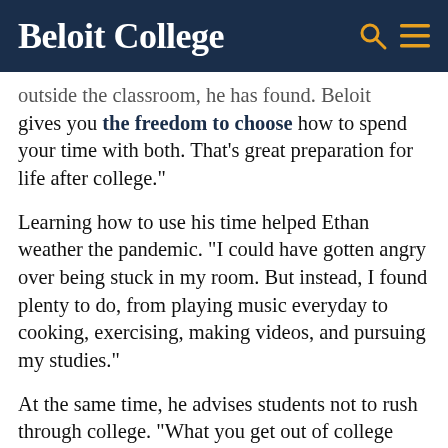Beloit College
outside the classroom, he has found. "Beloit gives you the freedom to choose how to spend your time with both. That's great preparation for life after college."
Learning how to use his time helped Ethan weather the pandemic. "I could have gotten angry over being stuck in my room. But instead, I found plenty to do, from playing music everyday to cooking, exercising, making videos, and pursuing my studies."
At the same time, he advises students not to rush through college. "What you get out of college depends on what you put into it. Take time to enjoy it, learn, and connect. Ideally,